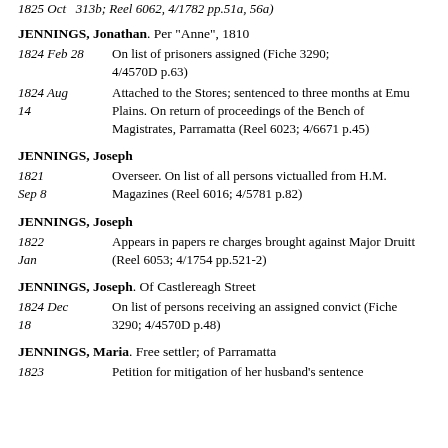1825 Oct   313b; Reel 6062, 4/1782 pp.51a, 56a)
JENNINGS, Jonathan. Per "Anne", 1810
1824 Feb 28  On list of prisoners assigned (Fiche 3290; 4/4570D p.63)
1824 Aug 14  Attached to the Stores; sentenced to three months at Emu Plains. On return of proceedings of the Bench of Magistrates, Parramatta (Reel 6023; 4/6671 p.45)
JENNINGS, Joseph
1821 Sep 8  Overseer. On list of all persons victualled from H.M. Magazines (Reel 6016; 4/5781 p.82)
JENNINGS, Joseph
1822 Jan  Appears in papers re charges brought against Major Druitt (Reel 6053; 4/1754 pp.521-2)
JENNINGS, Joseph. Of Castlereagh Street
1824 Dec 18  On list of persons receiving an assigned convict (Fiche 3290; 4/4570D p.48)
JENNINGS, Maria. Free settler; of Parramatta
1823  Petition for mitigation of her husband's sentence